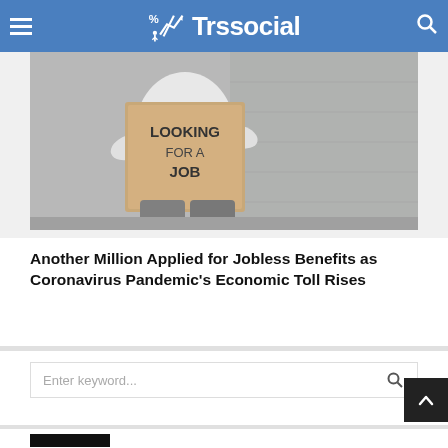Trssocial
[Figure (photo): Person sitting against a wall holding a cardboard sign that reads 'LOOKING FOR A JOB']
Another Million Applied for Jobless Benefits as Coronavirus Pandemic's Economic Toll Rises